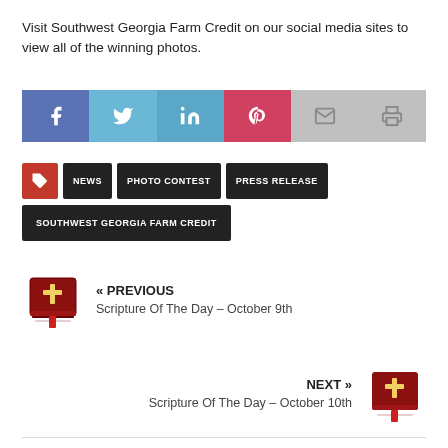Visit Southwest Georgia Farm Credit on our social media sites to view all of the winning photos.
[Figure (infographic): Social media sharing buttons: Facebook (blue), Twitter (light blue), LinkedIn (blue), Pinterest (red), Email (gray), Print (gray)]
NEWS
PHOTO CONTEST
PRESS RELEASE
SOUTHWEST GEORGIA FARM CREDIT
« PREVIOUS
Scripture Of The Day – October 9th
NEXT »
Scripture Of The Day – October 10th